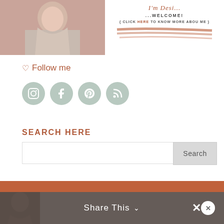[Figure (photo): Top banner with a smiling woman photo on the left and welcome text with brush strokes on the right]
♡ Follow me
[Figure (infographic): Four social media icons in muted green circles: Instagram, Facebook, Pinterest, RSS feed]
SEARCH HERE
[Figure (screenshot): Search bar with text input and Search button]
[Figure (other): Orange horizontal bar]
Share This ∨ ✕